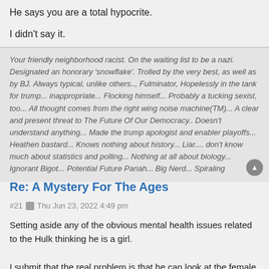He says you are a total hypocrite.
I didn't say it.
Your friendly neighborhood racist. On the waiting list to be a nazi. Designated an honorary 'snowflake'. Trolled by the very best, as well as by BJ. Always typical, unlike others.., Fulminator, Hopelessly in the tank for trump... inappropriate... Flocking himself... Probably a tucking sexist, too... All thought comes from the right wing noise machine(TM)... A clear and present threat to The Future Of Our Democracy.. Doesn't understand anything... Made the trump apologist and enabler playoffs... Heathen bastard... Knows nothing about history... Liar.... don't know much about statistics and polling... Nothing at all about biology... Ignorant Bigot... Potential Future Pariah... Big Nerd... Spiraling
Spock
Re: A Mystery For The Ages
#21  Thu Jun 23, 2022 4:49 pm
Setting aside any of the obvious mental health issues related to the Hulk thinking he is a girl.
I submit that the real problem is that he can look at the female rugby team photo and say-"Yep, that is where I belong."
Nothing but our official court jester...